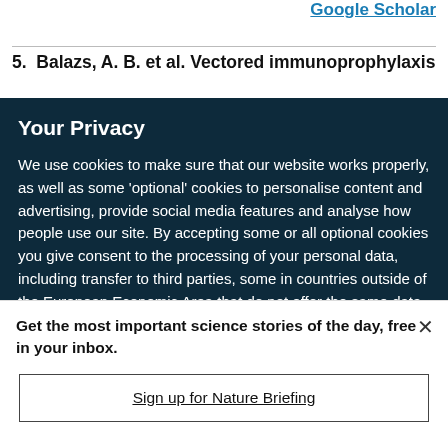Google Scholar
5.  Balazs, A. B. et al. Vectored immunoprophylaxis
Your Privacy
We use cookies to make sure that our website works properly, as well as some 'optional' cookies to personalise content and advertising, provide social media features and analyse how people use our site. By accepting some or all optional cookies you give consent to the processing of your personal data, including transfer to third parties, some in countries outside of the European Economic Area that do not offer the same data protection standards as the country where you live. You can decide which optional cookies to accept by clicking on 'Manage Settings', where you can
Get the most important science stories of the day, free in your inbox.
Sign up for Nature Briefing